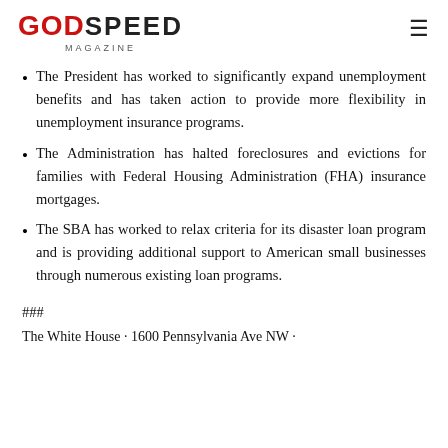GODSPEED MAGAZINE
The President has worked to significantly expand unemployment benefits and has taken action to provide more flexibility in unemployment insurance programs.
The Administration has halted foreclosures and evictions for families with Federal Housing Administration (FHA) insurance mortgages.
The SBA has worked to relax criteria for its disaster loan program and is providing additional support to American small businesses through numerous existing loan programs.
###
The White House · 1600 Pennsylvania Ave NW ·